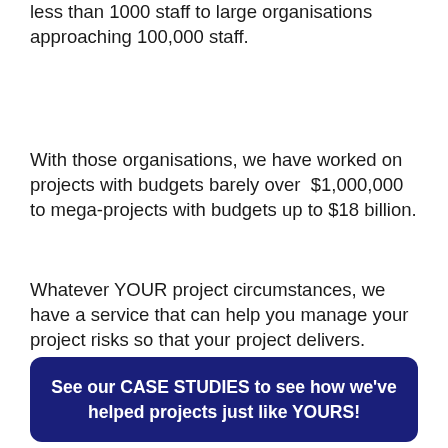less than 1000 staff to large organisations approaching 100,000 staff.
With those organisations, we have worked on projects with budgets barely over $1,000,000 to mega-projects with budgets up to $18 billion.
Whatever YOUR project circumstances, we have a service that can help you manage your project risks so that your project delivers.
See our CASE STUDIES to see how we've helped projects just like YOURS!